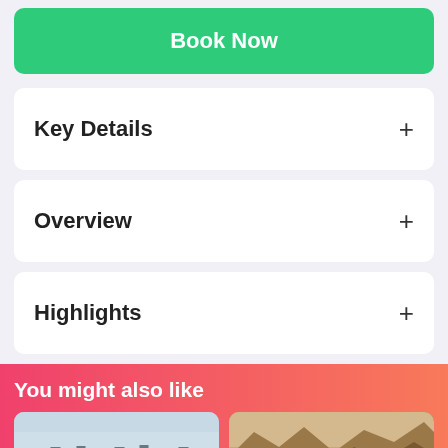Book Now
Key Details
Overview
Highlights
You might also like
[Figure (photo): Thumbnail image of a walled city, with badge showing 1 day duration]
[Figure (photo): Thumbnail image of a rocky landscape, with badge showing 7 hrs duration]